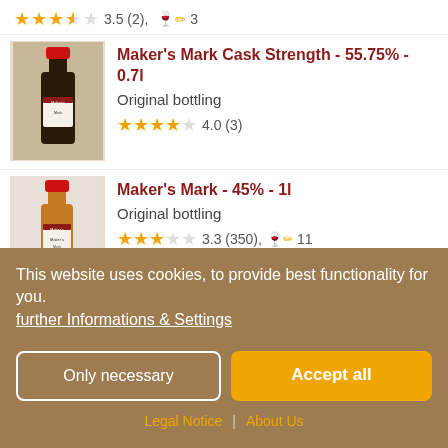3.5 (2), 🍷✏ 3
Maker's Mark Cask Strength - 55.75% - 0.7l
Original bottling
4.0 (3)
Maker's Mark - 45% - 1l
Original bottling
3.3 (350), 🍷✏ 11
This website uses cookies, to provide best functionality for you.
further Informations & Settings
Only necessary
Accept all
Legal Notice | About Us